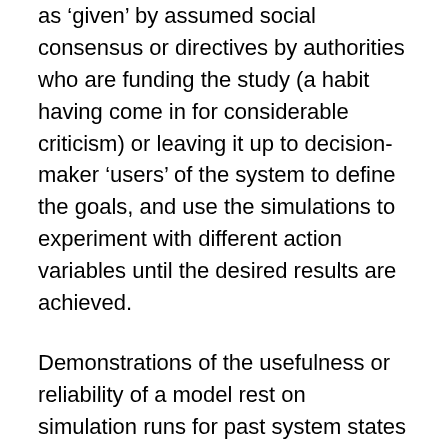as 'given' by assumed social consensus or directives by authorities who are funding the study (a habit having come in for considerable criticism) or leaving it up to decision-maker 'users' of the system to define the goals, and use the simulations to experiment with different action variables until the desired results are achieved.
Demonstrations of the usefulness or reliability of a model rest on simulation runs for past system states (for which the data about context and past action conditions can be determined): the model is deemed reliable and valid if it can produce results that match observable 'current' conditions. If the needed data for this can be produced and the relationships can be adjusted with sufficient accuracy to actually produce matching outcomes, the degree of confidence we are invited to invest in such models can be quite high: very close to 100% (with